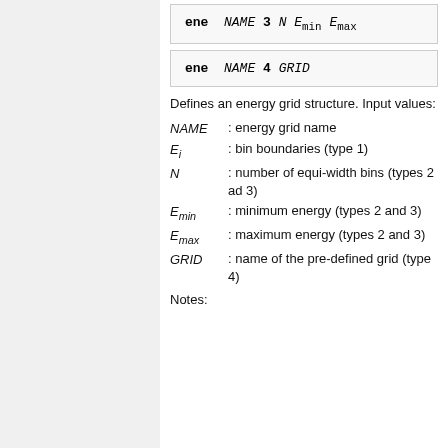Defines an energy grid structure. Input values:
NAME : energy grid name
E_i : bin boundaries (type 1)
N : number of equi-width bins (types 2 ad 3)
E_min : minimum energy (types 2 and 3)
E_max : maximum energy (types 2 and 3)
GRID : name of the pre-defined grid (type 4)
Notes: